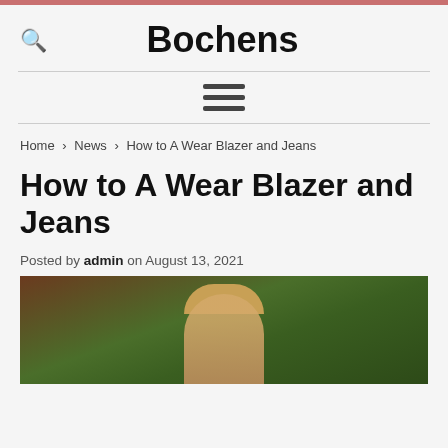Bochens
Home › News › How to A Wear Blazer and Jeans
How to A Wear Blazer and Jeans
Posted by admin on August 13, 2021
[Figure (photo): Featured image of a woman with blonde hair wearing a blazer, photographed outdoors in front of brick wall and green foliage]